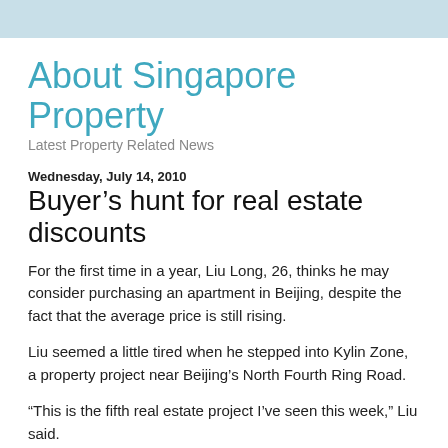About Singapore Property
Latest Property Related News
Wednesday, July 14, 2010
Buyer’s hunt for real estate discounts
For the first time in a year, Liu Long, 26, thinks he may consider purchasing an apartment in Beijing, despite the fact that the average price is still rising.
Liu seemed a little tired when he stepped into Kylin Zone, a property project near Beijing’s North Fourth Ring Road.
“This is the fifth real estate project I’ve seen this week,” Liu said.